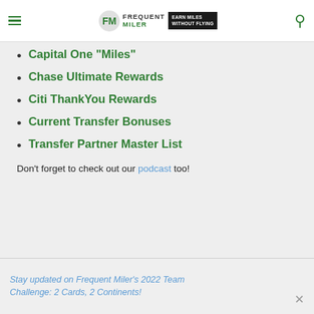Frequent Miler — Earn Miles Without Flying
Capital One "Miles"
Chase Ultimate Rewards
Citi ThankYou Rewards
Current Transfer Bonuses
Transfer Partner Master List
Don't forget to check out our podcast too!
Stay updated on Frequent Miler's 2022 Team Challenge: 2 Cards, 2 Continents!